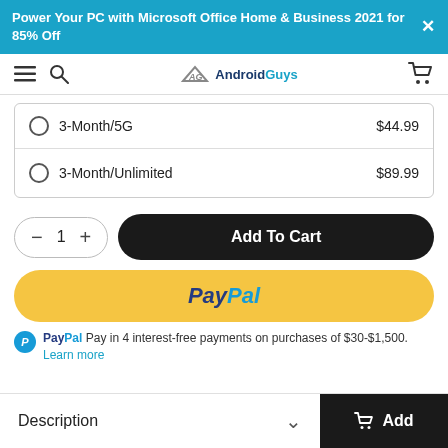Power Your PC with Microsoft Office Home & Business 2021 for 85% Off
[Figure (logo): AndroidGuys logo with hamburger menu, search icon, and cart icon navigation bar]
3-Month/5G — $44.99
3-Month/Unlimited — $89.99
Quantity: 1, Add To Cart button
PayPal button
PayPal Pay in 4 interest-free payments on purchases of $30-$1,500. Learn more
Description
Add